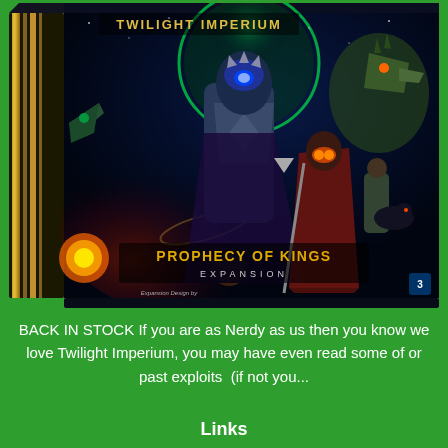[Figure (photo): Board game box for 'Twilight Imperium: Prophecy of Kings Expansion'. The box art shows sci-fi fantasy characters including an armored figure with a glowing helmet, a cloaked figure with a staff, alien creatures, and planets in a space setting. Text on box reads 'PROPHECY OF KINGS EXPANSION' and 'Expansion Design by DANE BELTRAMI'.]
BACK IN STOCK If you are as Nerdy as us then you know we love Twilight Imperium, you may have even read some of or past exploits  (if not you...
Links